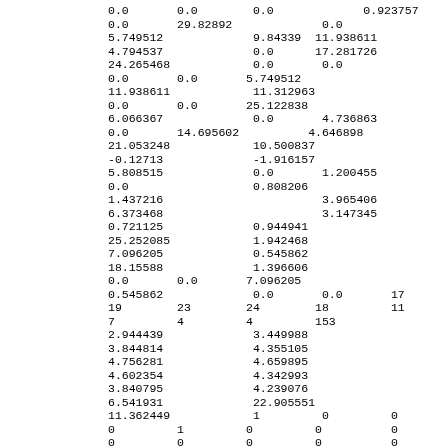0.0       0.0        0.0             0.923757
0.0       29.82892             0.0
5.749512             9.84339  11.938611
4.794537             0.0      17.281726
24.265468            0.0       0.0
0.0       0.0       5.749512
11.938611            11.312963
0.0       0.0       25.122838
6.066367             0.0       4.736863
0.0       14.695602          4.646898
21.053248            10.500837
-0.12713             -1.916157
5.808515             0.0       1.200455
0.0                  0.808206
1.437216                       3.965406
6.373468                       3.147345
0.721125             0.944941
25.252085            1.942468
7.096205             0.545862
18.15588             1.396606
0.0       0.0       7.096205
0.545862             0.0       0.0       17
19        23        24        18         11
7         4         4         153
2.944439             3.449988
3.844814             4.355105
4.756281             4.659895
4.602354             4.342993
3.840795             4.239076
6.541931             22.905551
11.362449            1         0         0
0         1         0         0          0
0         0         0         0          0